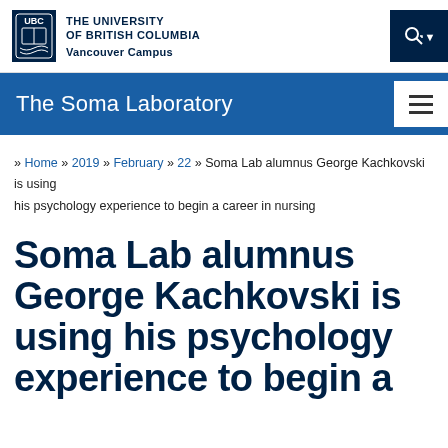[Figure (logo): UBC shield logo and university name header with search button]
The Soma Laboratory
» Home » 2019 » February » 22 » Soma Lab alumnus George Kachkovski is using his psychology experience to begin a career in nursing
Soma Lab alumnus George Kachkovski is using his psychology experience to begin a